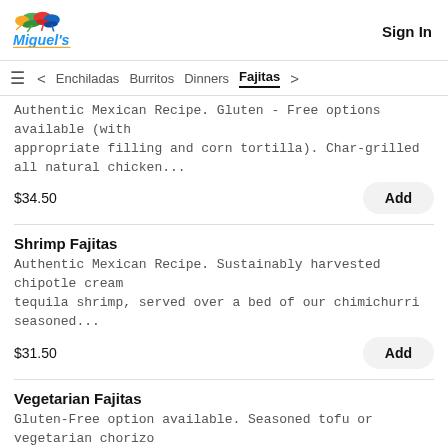Miguel's | Sign In
Enchiladas  Burritos  Dinners  Fajitas
Authentic Mexican Recipe. Gluten-Free options available (with appropriate filling and corn tortilla). Char-grilled all natural chicken...
$34.50
Shrimp Fajitas
Authentic Mexican Recipe. Sustainably harvested chipotle cream tequila shrimp, served over a bed of our chimichurri seasoned...
$31.50
Vegetarian Fajitas
Gluten-Free option available. Seasoned tofu or vegetarian chorizo served over a bed of our chimichurri seasoned sautéed vegetable...
$28.75